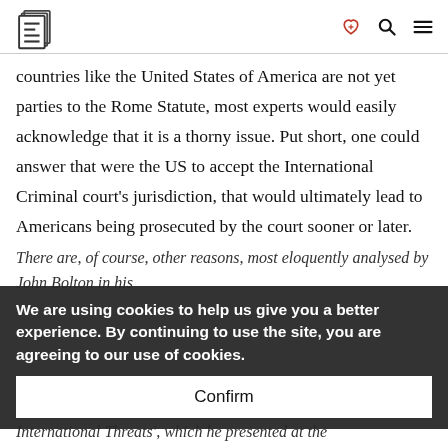[Logo: E-International Relations | heart-handshake icon | search icon | menu icon]
countries like the United States of America are not yet parties to the Rome Statute, most experts would easily acknowledge that it is a thorny issue. Put short, one could answer that were the US to accept the International Criminal court's jurisdiction, that would ultimately lead to Americans being prosecuted by the court sooner or later.
There are, of course, other reasons, most eloquently analysed by John Bolton in his
We are using cookies to help us give you a better experience. By continuing to use the site, you are agreeing to our use of cookies.
Confirm
International Threats', which he presented at the